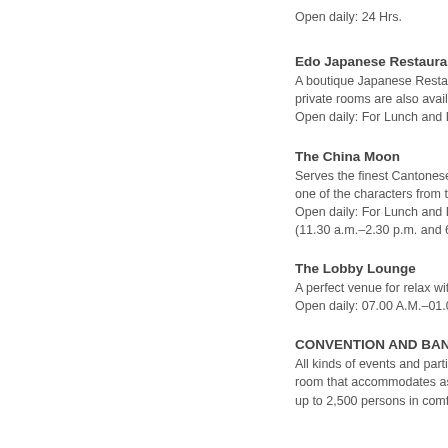Open daily: 24 Hrs.
Edo Japanese Restaurant
A boutique Japanese Restau... private rooms are also availab... Open daily: For Lunch and D...
The China Moon
Serves the finest Cantonese f... one of the characters from th... Open daily: For Lunch and D... (11.30 a.m.–2.30 p.m. and 6...
The Lobby Lounge
A perfect venue for relax with... Open daily: 07.00 A.M.–01.0...
CONVENTION AND BANQUE...
All kinds of events and partie... room that accommodates as... up to 2,500 persons in comfo...